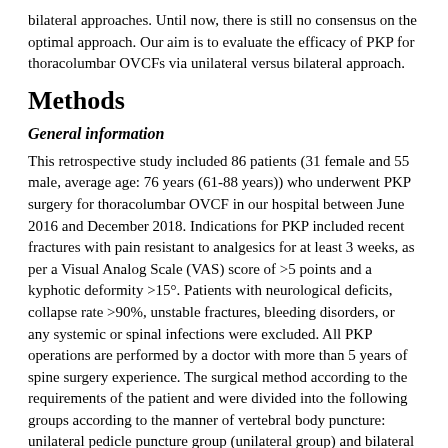bilateral approaches. Until now, there is still no consensus on the optimal approach. Our aim is to evaluate the efficacy of PKP for thoracolumbar OVCFs via unilateral versus bilateral approach.
Methods
General information
This retrospective study included 86 patients (31 female and 55 male, average age: 76 years (61-88 years)) who underwent PKP surgery for thoracolumbar OVCF in our hospital between June 2016 and December 2018. Indications for PKP included recent fractures with pain resistant to analgesics for at least 3 weeks, as per a Visual Analog Scale (VAS) score of >5 points and a kyphotic deformity >15°. Patients with neurological deficits, collapse rate >90%, unstable fractures, bleeding disorders, or any systemic or spinal infections were excluded. All PKP operations are performed by a doctor with more than 5 years of spine surgery experience. The surgical method according to the requirements of the patient and were divided into the following groups according to the manner of vertebral body puncture: unilateral pedicle puncture group (unilateral group) and bilateral pedicle puncture group (bilateral group). The average body mass index (BMI) of unilateral group was 23.10±3.8 kg/m² and that of the bilateral group was